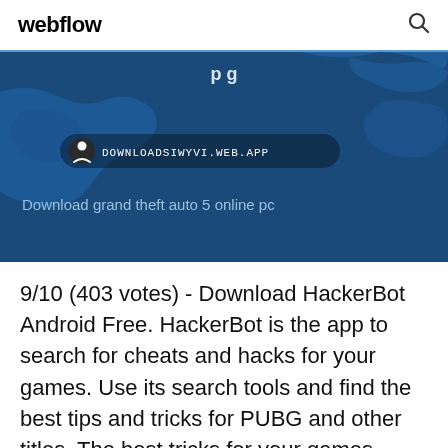webflow
[Figure (screenshot): Blue banner with a map background showing geographic outlines. Contains site badge with icon and URL DOWNLOADSIWYVI.WEB.APP, and subtitle text 'Download grand theft auto 5 online pc']
9/10 (403 votes) - Download HackerBot Android Free. HackerBot is the app to search for cheats and hacks for your games. Use its search tools and find the best tips and tricks for PUBG and other titles. The best tricks for your games